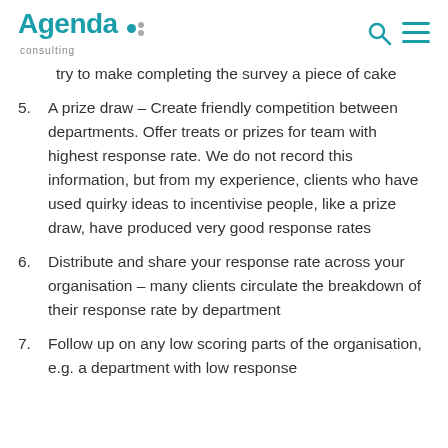Agenda consulting
try to make completing the survey a piece of cake
5. A prize draw – Create friendly competition between departments. Offer treats or prizes for team with highest response rate. We do not record this information, but from my experience, clients who have used quirky ideas to incentivise people, like a prize draw, have produced very good response rates
6. Distribute and share your response rate across your organisation – many clients circulate the breakdown of their response rate by department
7. Follow up on any low scoring parts of the organisation, e.g. a department with low response